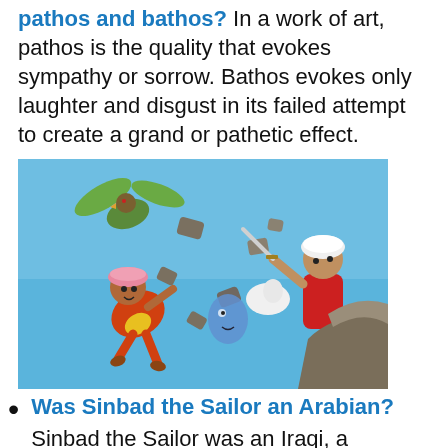pathos and bathos? In a work of art, pathos is the quality that evokes sympathy or sorrow. Bathos evokes only laughter and disgust in its failed attempt to create a grand or pathetic effect.
[Figure (illustration): Animated scene showing cartoon characters in an action sequence with a bird creature flying above, one character in orange falling, another in red wielding a sword, with rocks and rubble scattered around on a blue background.]
Was Sinbad the Sailor an Arabian? Sinbad the Sailor was an Iraqi, a merchant shipwrecked after setting sail from Basra, now Iraq. The story of his seven voyages is told in The